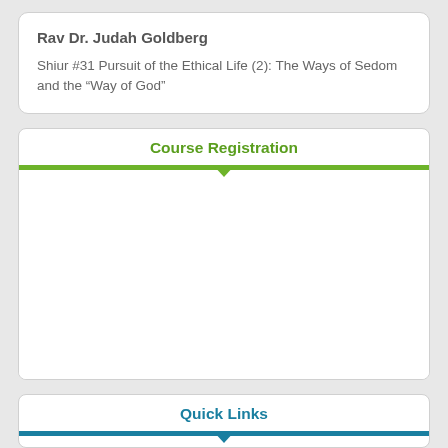Rav Dr. Judah Goldberg
Shiur #31 Pursuit of the Ethical Life (2): The Ways of Sedom and the “Way of God”
Course Registration
Quick Links